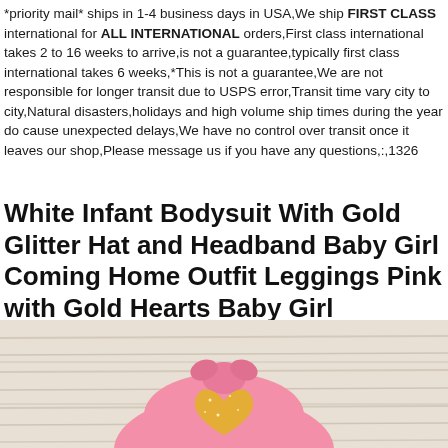*priority mail* ships in 1-4 business days in USA,We ship FIRST CLASS international for ALL INTERNATIONAL orders,First class international takes 2 to 16 weeks to arrive,is not a guarantee,typically first class international takes 6 weeks,*This is not a guarantee,We are not responsible for longer transit due to USPS error,Transit time vary city to city,Natural disasters,holidays and high volume ship times during the year do cause unexpected delays,We have no control over transit once it leaves our shop,Please message us if you have any questions,:,1326
White Infant Bodysuit With Gold Glitter Hat and Headband Baby Girl Coming Home Outfit Leggings Pink with Gold Hearts Baby Girl
[Figure (photo): Pink knotted baby hat with gold glitter heart decoration, placed on a white wood plank background]